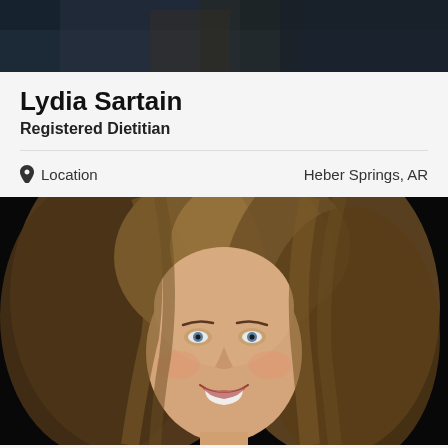[Figure (photo): Top portion of a profile photo showing dark background with hair visible at top edge]
Lydia Sartain
Registered Dietitian
Location    Heber Springs, AR
[Figure (photo): Professional headshot of Lydia Sartain, a woman with blonde/brown hair and blue eyes, smiling, against a dark background]